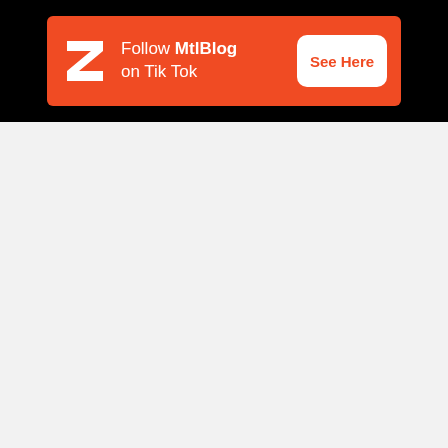[Figure (other): MtlBlog TikTok promotional banner ad on black background. Orange banner with white MtlBlog zigzag logo on left, text 'Follow MtlBlog on Tik Tok' in white, and white 'See Here' call-to-action button in orange text on the right.]